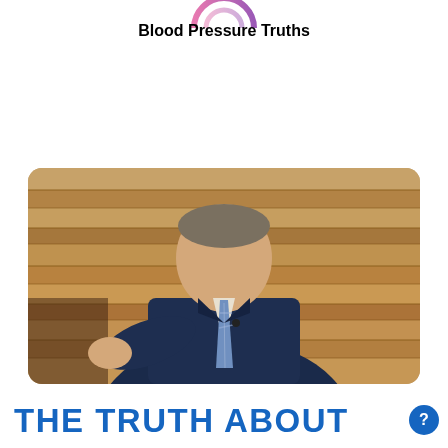[Figure (logo): Partial circular logo in pink/purple gradient at the top center]
Blood Pressure Truths
[Figure (photo): A man in a dark navy suit with a blue/lavender plaid tie, seated, gesturing with his hand. Background is a rustic wooden plank wall in warm tan/brown tones.]
THE TRUTH ABOUT
[Figure (other): Small blue circular icon with a question mark at the bottom right]